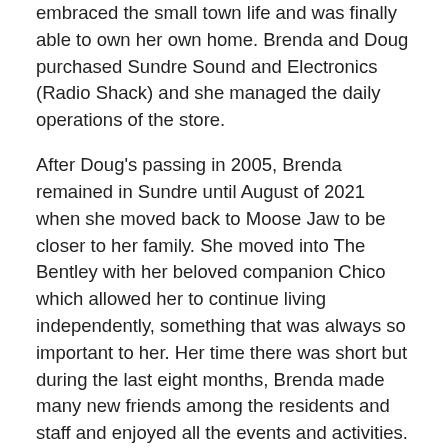embraced the small town life and was finally able to own her own home. Brenda and Doug purchased Sundre Sound and Electronics (Radio Shack) and she managed the daily operations of the store.
After Doug's passing in 2005, Brenda remained in Sundre until August of 2021 when she moved back to Moose Jaw to be closer to her family. She moved into The Bentley with her beloved companion Chico which allowed her to continue living independently, something that was always so important to her. Her time there was short but during the last eight months, Brenda made many new friends among the residents and staff and enjoyed all the events and activities.
She was predeceased by her husband, Douglas Jonsson; parents, Cecil and Doreen Champion; father, Leonard Price; and brother, Thomas Champion. Brenda will be lovingly remembered by her son, Robert Lamb (Deborah Klassen); daughter, Terri Lamb (Gord Biden); siblings: Karen (Ken)